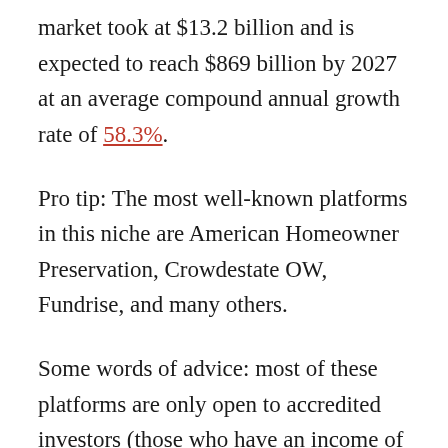market took at $13.2 billion and is expected to reach $869 billion by 2027 at an average compound annual growth rate of 58.3%.
Pro tip: The most well-known platforms in this niche are American Homeowner Preservation, Crowdestate OW, Fundrise, and many others.
Some words of advice: most of these platforms are only open to accredited investors (those who have an income of